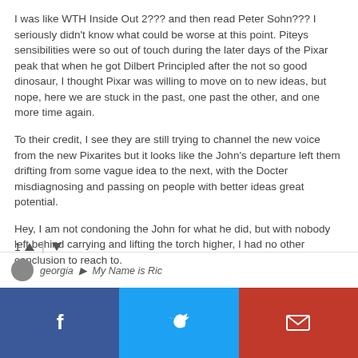I was like WTH Inside Out 2??? and then read Peter Sohn??? I seriously didn't know what could be worse at this point. Piteys sensibilities were so out of touch during the later days of the Pixar peak that when he got Dilbert Principled after the not so good dinosaur, I thought Pixar was willing to move on to new ideas, but nope, here we are stuck in the past, one past the other, and one more time again.
To their credit, I see they are still trying to channel the new voice from the new Pixarites but it looks like the John's departure left them drifting from some vague idea to the next, with the Docter misdiagnosing and passing on people with better ideas great potential.
Hey, I am not condoning the John for what he did, but with nobody left behind carrying and lifting the torch higher, I had no other conclusion to reach to.
1 ^ | v
georgia · My Name is Ric